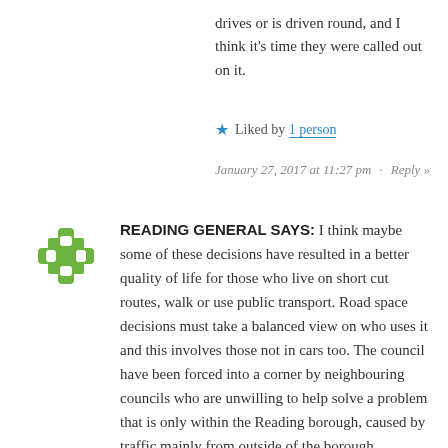drives or is driven round, and I think it's time they were called out on it.
Liked by 1 person
January 27, 2017 at 11:27 pm  •  Reply »
[Figure (illustration): Green puzzle-piece avatar icon for user Reading General]
READING GENERAL SAYS: I think maybe some of these decisions have resulted in a better quality of life for those who live on short cut routes, walk or use public transport. Road space decisions must take a balanced view on who uses it and this involves those not in cars too. The council have been forced into a corner by neighbouring councils who are unwilling to help solve a problem that is only within the Reading borough, caused by traffic mainly from outside of the borough. Removing